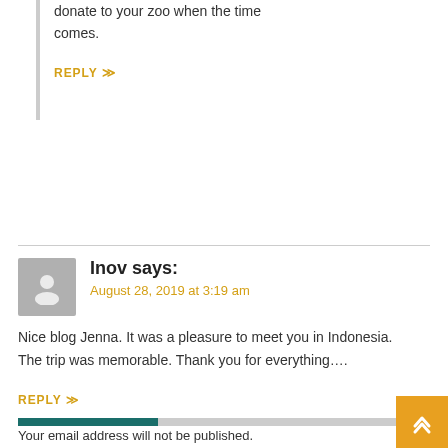donate to your zoo when the time comes.
REPLY
Inov says:
August 28, 2019 at 3:19 am
Nice blog Jenna. It was a pleasure to meet you in Indonesia. The trip was memorable. Thank you for everything….
REPLY
Your email address will not be published.